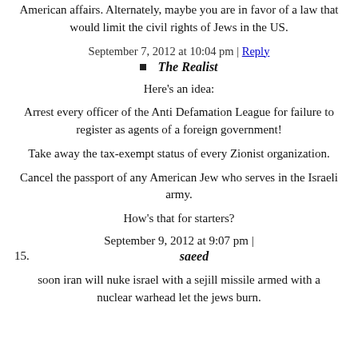American affairs. Alternately, maybe you are in favor of a law that would limit the civil rights of Jews in the US.
September 7, 2012 at 10:04 pm | Reply
The Realist
Here's an idea:
Arrest every officer of the Anti Defamation League for failure to register as agents of a foreign government!
Take away the tax-exempt status of every Zionist organization.
Cancel the passport of any American Jew who serves in the Israeli army.
How's that for starters?
September 9, 2012 at 9:07 pm |
15. saeed
soon iran will nuke israel with a sejill missile armed with a nuclear warhead let the jews burn.